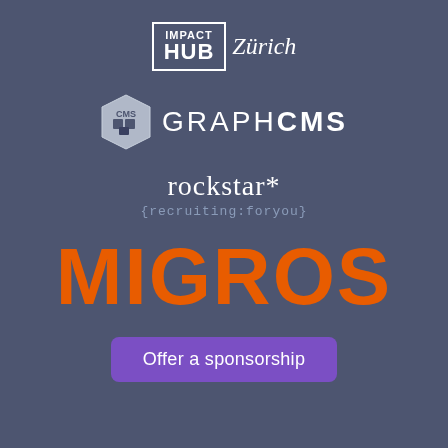[Figure (logo): Impact Hub Zürich logo — white outlined box with IMPACT on top, HUB large, then Zürich in italic serif next to it]
[Figure (logo): GraphCMS logo — hexagonal CMS icon in grey/white beside GRAPHCMS text in white uppercase]
[Figure (logo): rockstar* recruiting logo — rockstar* in white serif font, {recruiting:foryou} in grey monospace below]
[Figure (logo): MIGROS logo in large bold orange uppercase letters]
Offer a sponsorship